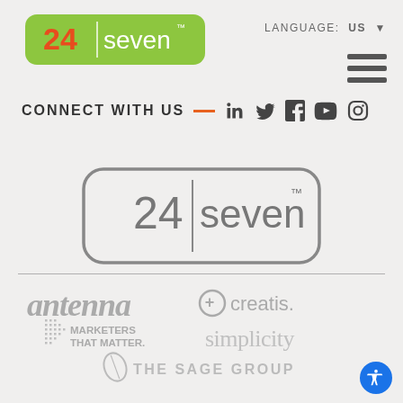[Figure (logo): 24seven logo - green pill shape with orange '24', white pipe, white 'seven' text, on top-left of page]
LANGUAGE: US ▼
[Figure (other): Hamburger menu icon - three horizontal lines]
CONNECT WITH US — (social icons: LinkedIn, Twitter, Facebook, YouTube, Instagram)
[Figure (logo): 24seven logo in gray outline rounded rectangle - center of page]
[Figure (logo): antenna logo - italic serif bold gray text]
[Figure (logo): creatis. logo with circle-plus icon]
[Figure (logo): Marketers That Matter logo with dot-grid icon]
[Figure (logo): simplicity logo in light gray serif font]
[Figure (logo): The Sage Group logo with leaf/oval icon]